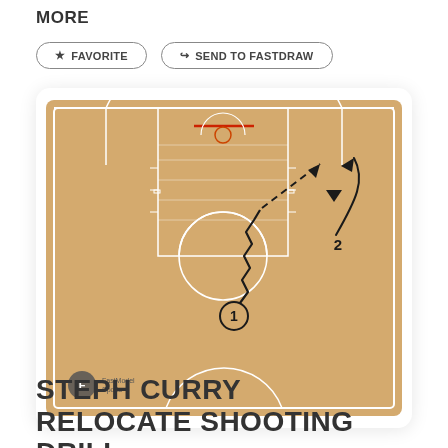MORE
FAVORITE
SEND TO FASTDRAW
[Figure (illustration): Basketball half-court diagram showing Steph Curry Relocate Shooting Drill. Player 1 is at the top of the key with a dribble (zigzag line) moving toward the wing, passing (dashed arrow) to the upper right area. Player 2 is at the right wing. A curved arrow shows player 2 relocating to the right corner. FastModel Sports logo in bottom left.]
STEPH CURRY RELOCATE SHOOTING DRILL